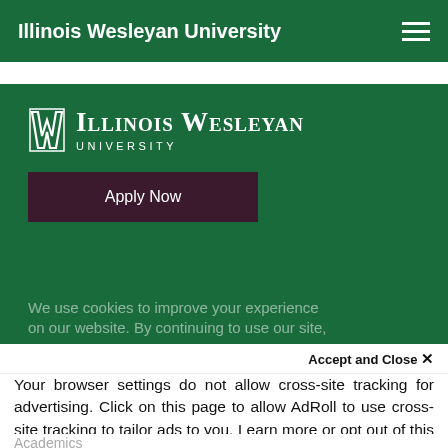Illinois Wesleyan University
[Figure (logo): Illinois Wesleyan University logo with stylized W icon and text 'Illinois Wesleyan University' in white on green background]
Apply Now
We use cookies to improve your experience on our website. By continuing to use our site,
Accept and Close ✕
Your browser settings do not allow cross-site tracking for advertising. Click on this page to allow AdRoll to use cross-site tracking to tailor ads to you. Learn more or opt out of this AdRoll tracking by clicking here. This message only appears once.
Academics